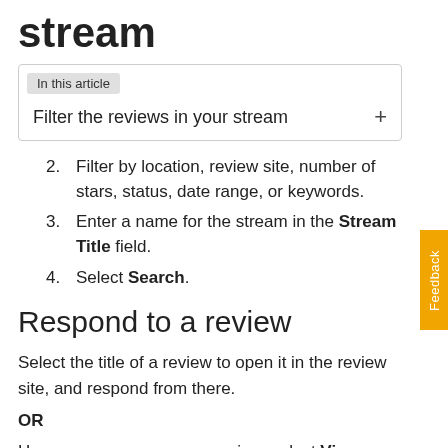stream
Filter the reviews in your stream
2. Filter by location, review site, number of stars, status, date range, or keywords.
3. Enter a name for the stream in the Stream Title field.
4. Select Search.
Respond to a review
Select the title of a review to open it in the review site, and respond from there.
OR
Hover your mouse over a review, select View on